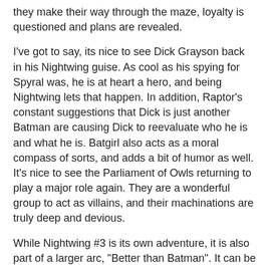they make their way through the maze, loyalty is questioned and plans are revealed.
I've got to say, its nice to see Dick Grayson back in his Nightwing guise. As cool as his spying for Spyral was, he is at heart a hero, and being Nightwing lets that happen. In addition, Raptor's constant suggestions that Dick is just another Batman are causing Dick to reevaluate who he is and what he is. Batgirl also acts as a moral compass of sorts, and adds a bit of humor as well. It's nice to see the Parliament of Owls returning to play a major role again. They are a wonderful group to act as villains, and their machinations are truly deep and devious.
While Nightwing #3 is its own adventure, it is also part of a larger arc, "Better than Batman". It can be read and enjoyed on its own, and I give it a high recommendation, but it will be best understood in the context of the larger story.
Tim Seeley is continuing to write fun, adventurous stories with Dick Grayson/Nightwing and is constantly evolving the character. This is a series that should be read by any Bat-